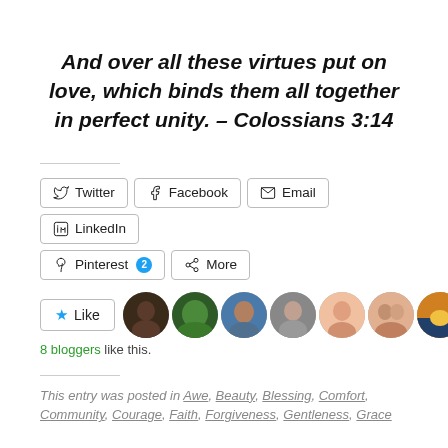And over all these virtues put on love, which binds them all together in perfect unity. – Colossians 3:14
[Figure (screenshot): Social sharing buttons: Twitter, Facebook, Email, LinkedIn, Pinterest (with badge 2), More]
[Figure (screenshot): Like button with star icon and 8 blogger avatars]
8 bloggers like this.
This entry was posted in Awe, Beauty, Blessing, Comfort, Community, Courage, Faith, Forgiveness, Gentleness, Grace